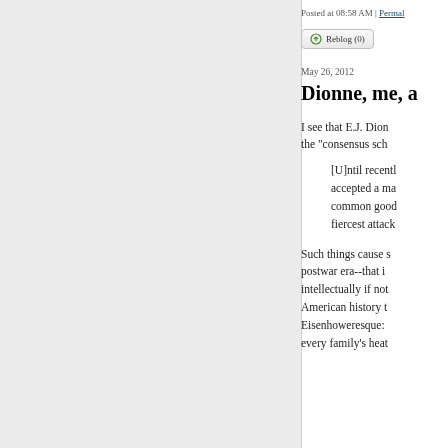Posted at 08:58 AM | Permal...
Reblog (0)
May 26, 2012
Dionne, me, a...
I see that E.J. Dion... the "consensus sch...
[U]ntil recentl... accepted a ma... common good... fiercest attack...
Such things cause s... postwar era--that i... intellectually if not... American history t... Eisenhoweresque:... every family's heat...